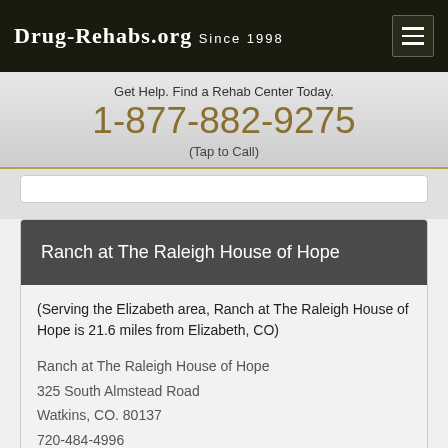Drug-Rehabs.org Since 1998
Get Help. Find a Rehab Center Today.
1-877-882-9275
(Tap to Call)
Ranch at The Raleigh House of Hope
(Serving the Elizabeth area, Ranch at The Raleigh House of Hope is 21.6 miles from Elizabeth, CO)
Ranch at The Raleigh House of Hope
325 South Almstead Road
Watkins, CO. 80137
720-484-4996